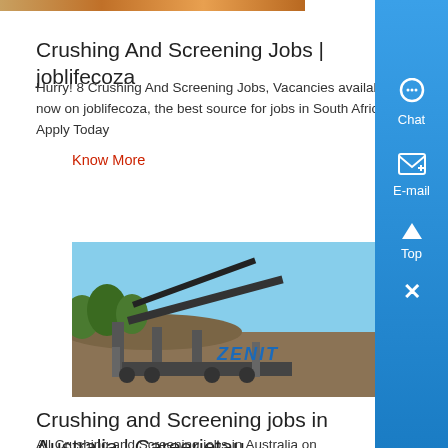[Figure (photo): Partial top image of people, cropped, warm tones]
Crushing And Screening Jobs | joblifecoza
Hurry! 8 Crushing And Screening Jobs, Vacancies available now on joblifecoza, the best source for jobs in South Africa Apply Today
Know More
[Figure (photo): ZENIT crushing and screening machinery on a job site with blue sky background]
Crushing and Screening jobs in Australia | Careerjetau
All Crushing and Screening jobs in Australia on Careerjetau, the search engine for jobs in Australia...
Know More